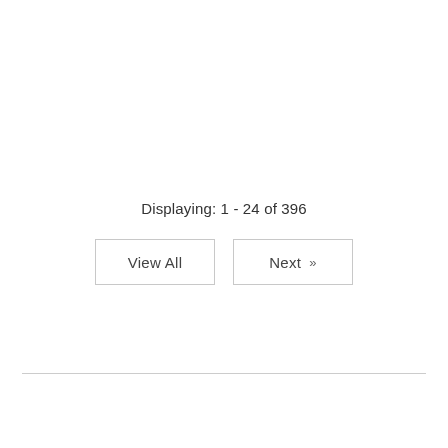Displaying: 1 - 24 of 396
View All
Next »